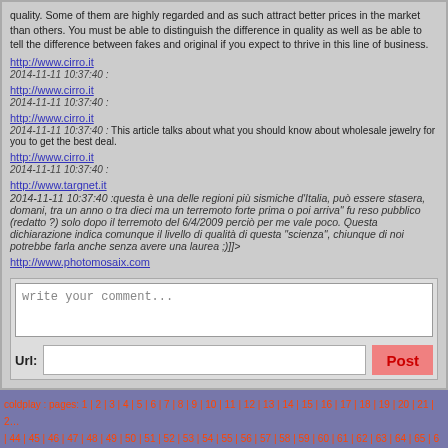quality. Some of them are highly regarded and as such attract better prices in the market than others. You must be able to distinguish the difference in quality as well as be able to tell the difference between fakes and original if you expect to thrive in this line of business.
http://www.cirro.it
2014-11-11 10:37:40 :
http://www.cirro.it
2014-11-11 10:37:40 :
http://www.cirro.it
2014-11-11 10:37:40 :This article talks about what you should know about wholesale jewelry for you to get the best deal.
http://www.cirro.it
2014-11-11 10:37:40 :
http://www.targnet.it
2014-11-11 10:37:40 :questa è una delle regioni più sismiche d'Italia, può essere stasera, domani, tra un anno o tra dieci ma un terremoto forte prima o poi arriva" fu reso pubblico (redatto ?) solo dopo il terremoto del 6/4/2009 perciò per me vale poco. Questa dichiarazione indica comunque il livello di qualità di questa "scienza", chiunque di noi potrebbe farla anche senza avere una laurea ;)]]>
http://www.photomosaix.com
write your comment...
Url:
Post
coldplay : pages: 1 | 2 | 3 | 4 | 5 | 6 | 7 | 8 | 9 | 10 | 11 | 12 | 13 | 14 | 15 | 16 | 17 | 18 | 19 | 20 | 21 | 2… | 44 | 45 | 46 | 47 | 48 | 49 | 50 | 51 | 52 | 53 | 54 | 55 | 56 | 57 | 58 | 59 | 60 | 61 | 62 | 63 | 64 | 65 | 66… | 88 | 89 | 90 | 91 | 92 | 93 | 94 | 95 | 96 | 97 | 98 | 99 | 100 | 101 | 102 | 103 | 104 | 105 | 106 | 107 | 108… | 126 | 127 | 128 | 129 | 130 | 131 | 132 | 133 | 134 | 135 | 136 | 137 | 138 | 139 | 140 | 141 | 142 | 143 | … | 161 | 162 | 163 | 164 | 165 | 166 | 167 | 168 | 169 | 170 | 171 | 172 | 173 | 174 | 175 | 176 | 177 | 178 | … | 196 | 197 | 198 | 199 | 200 | 201 | 202 | 203 | 204 | 205 | 206 | 207 | 208 | 209 | 210 | 211 | 212 | 213 | …